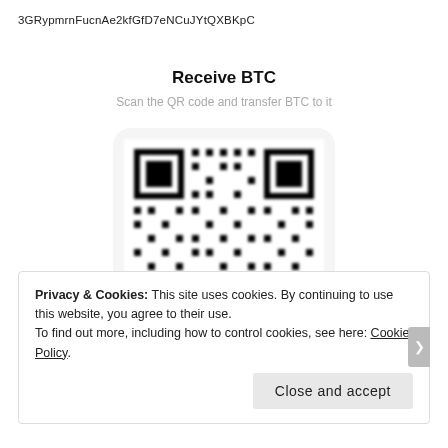3GRypmrnFucnAe2kfGfD7eNCuJYtQXBKpC
Receive BTC
Scan the QR code and transfer BTC to it
[Figure (other): QR code for Bitcoin address 3GRypmrnFucnAe2kfGfD7eNCuJYtQXBKpC, shown inside a rounded rectangle container with a watermark at the bottom]
Privacy & Cookies: This site uses cookies. By continuing to use this website, you agree to their use.
To find out more, including how to control cookies, see here: Cookie Policy